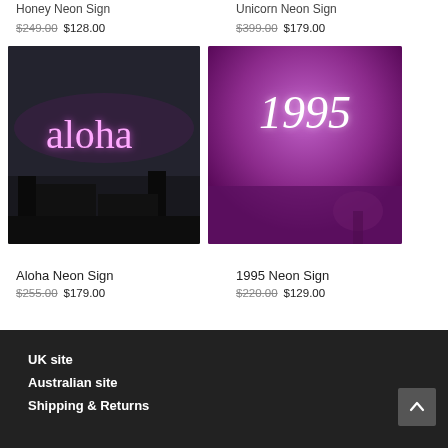Honey Neon Sign $249.00 $128.00
Unicorn Neon Sign $399.00 $179.00
[Figure (photo): Neon sign reading 'aloha' in pink/purple script on a dark bedroom wall]
[Figure (photo): Neon sign reading '1995' in italic white text on a magenta/purple glowing background]
Aloha Neon Sign
$255.00 $179.00
1995 Neon Sign
$220.00 $129.00
UK site
Australian site
Shipping & Returns